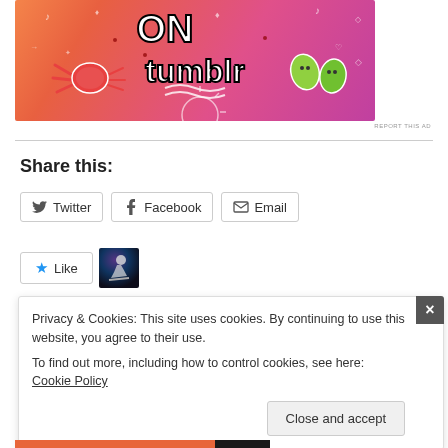[Figure (illustration): Tumblr advertisement banner with orange-to-pink gradient background, white doodle icons, the word 'tumblr' in large bold white text with black shadow, cartoon crab and leaf stickers]
REPORT THIS AD
Share this:
Twitter  Facebook  Email
Like
Privacy & Cookies: This site uses cookies. By continuing to use this website, you agree to their use.
To find out more, including how to control cookies, see here: Cookie Policy
Close and accept